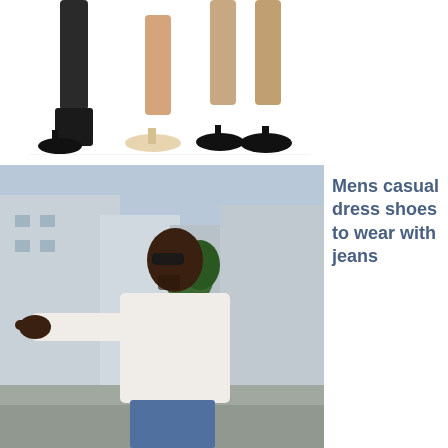[Figure (photo): Close-up of three women's legs wearing different types of shoes: black high heels, beige/nude flats, and black platform heels, on a white background]
[Figure (photo): Side profile of a man wearing sunglasses, a white jacket/shirt, and jeans, pointing with his hand, standing on a city street with buildings and trees in the background]
Mens casual dress shoes to wear with jeans